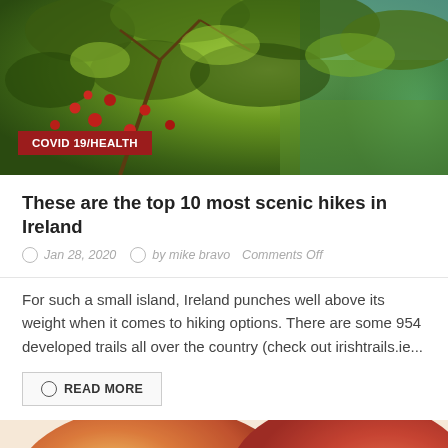[Figure (photo): Outdoor photo of a tree with red berries/rose hips and green leaves, with blue water and green hills in background. COVID 19/HEALTH badge overlay.]
These are the top 10 most scenic hikes in Ireland
Jan 28, 2020   by mike bravo   Comments Off
For such a small island, Ireland punches well above its weight when it comes to hiking options. There are some 954 developed trails all over the country (check out irishtrails.ie...
READ MORE
[Figure (photo): Close-up photo of red and yellow apples, blurred/bokeh background.]